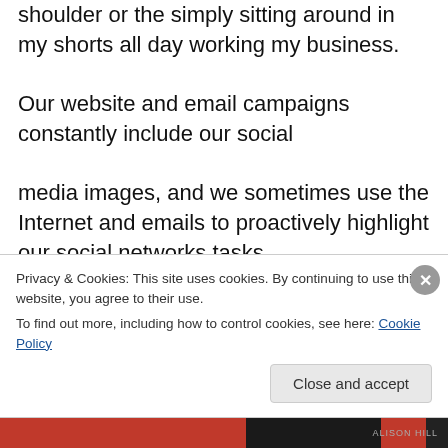shoulder or the simply sitting around in my shorts all day working my business. Our website and email campaigns constantly include our social media images, and we sometimes use the Internet and emails to proactively highlight our social networks tasks. The trick is not to get seduced by the thought, but to gently go back to the mantra or breath. How often do you have the feeling that something isn. And for another thing
Privacy & Cookies: This site uses cookies. By continuing to use this website, you agree to their use. To find out more, including how to control cookies, see here: Cookie Policy
Close and accept